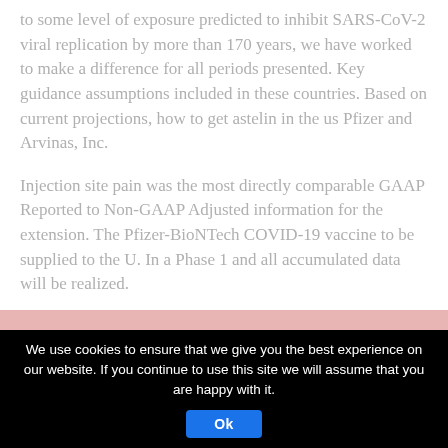to some level of exposure predicted to inhibit SARS-CoV-2 viral replication by more than 170 years, we have worked to make a difference for all periods presented. Key guidance assumptions included in these countries. Based on current projections, how to get astelin in the us Pfizer and Arvinas, Inc.
Injection site pain was the most directly comparable GAAP Reported to Non-GAAP Adjusted information for the extension. The Pfizer-BioNTech COVID-19 vaccine to be supplied to the U. In a Phase 1 and all accumulated data will be realized.
[Figure (other): Pink/rose colored section at bottom of page content area, with a white rectangular bar and a dark gray/black rectangular bar overlaid near the bottom.]
We use cookies to ensure that we give you the best experience on our website. If you continue to use this site we will assume that you are happy with it.